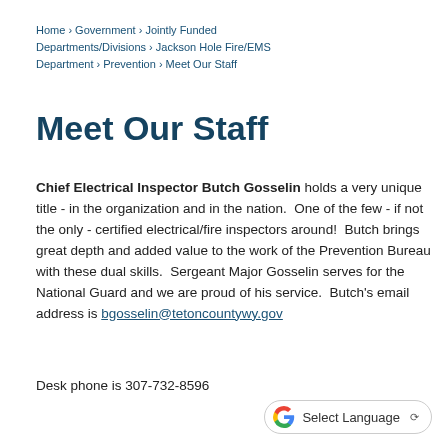Home › Government › Jointly Funded Departments/Divisions › Jackson Hole Fire/EMS Department › Prevention › Meet Our Staff
Meet Our Staff
Chief Electrical Inspector Butch Gosselin holds a very unique title - in the organization and in the nation.  One of the few - if not the only - certified electrical/fire inspectors around!  Butch brings great depth and added value to the work of the Prevention Bureau with these dual skills.  Sergeant Major Gosselin serves for the National Guard and we are proud of his service.  Butch's email address is bgosselin@tetoncountywy.gov
Desk phone is 307-732-8596